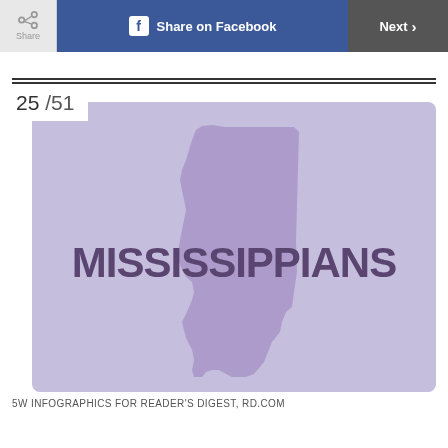Share | Share on Facebook | Next
25 /51
[Figure (illustration): Purple/lavender card showing a silhouette map of Mississippi state with the word MISSISSIPPIANS in bold dark purple text overlaid across the map. Background is light periwinkle/lavender purple.]
5W INFOGRAPHICS FOR READER'S DIGEST, RD.COM